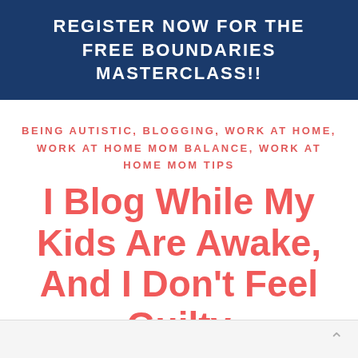REGISTER NOW FOR THE FREE BOUNDARIES MASTERCLASS!!
BEING AUTISTIC, BLOGGING, WORK AT HOME, WORK AT HOME MOM BALANCE, WORK AT HOME MOM TIPS
I Blog While My Kids Are Awake, And I Don’t Feel Guilty
BY KAYLENE